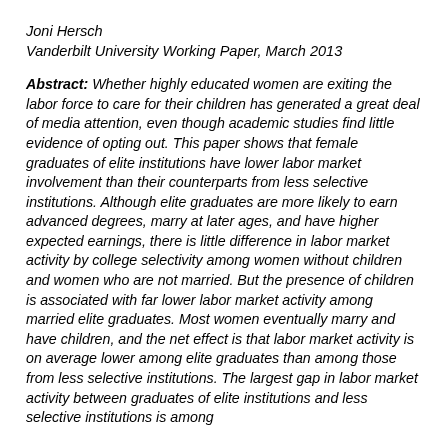Joni Hersch
Vanderbilt University Working Paper, March 2013
Abstract: Whether highly educated women are exiting the labor force to care for their children has generated a great deal of media attention, even though academic studies find little evidence of opting out. This paper shows that female graduates of elite institutions have lower labor market involvement than their counterparts from less selective institutions. Although elite graduates are more likely to earn advanced degrees, marry at later ages, and have higher expected earnings, there is little difference in labor market activity by college selectivity among women without children and women who are not married. But the presence of children is associated with far lower labor market activity among married elite graduates. Most women eventually marry and have children, and the net effect is that labor market activity is on average lower among elite graduates than among those from less selective institutions. The largest gap in labor market activity between graduates of elite institutions and less selective institutions is among